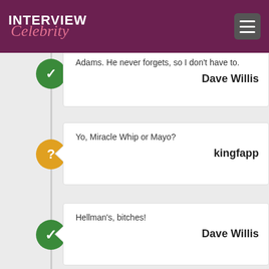INTERVIEW Celebrity
Adams. He never forgets, so I don't have to.
Dave Willis
Yo, Miracle Whip or Mayo?
kingfapp
Hellman's, bitches!
Dave Willis
What influences your work the most? What inspired the show?